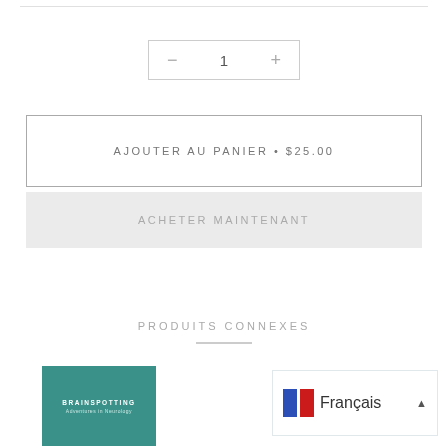[Figure (screenshot): Quantity selector control with minus, 1, plus buttons inside a bordered box]
AJOUTER AU PANIER • $25.00
ACHETER MAINTENANT
PRODUITS CONNEXES
[Figure (illustration): Book cover for Brainspotting: Adventures in Neurology on teal background]
[Figure (screenshot): French/Français language selector with French flag colors (blue and red) and dropdown arrow]